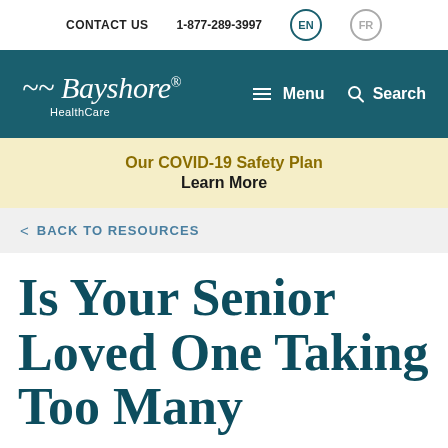CONTACT US   1-877-289-3997   EN   FR
[Figure (logo): Bayshore HealthCare logo in white on teal navigation bar with Menu and Search links]
Our COVID-19 Safety Plan
Learn More
< BACK TO RESOURCES
Is Your Senior Loved One Taking Too Many